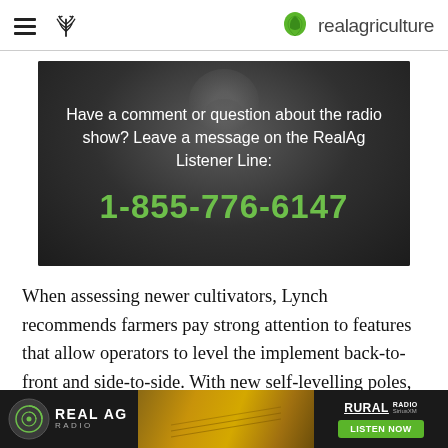realagriculture
[Figure (photo): Dark background image of a pig's snout with overlaid text: 'Have a comment or question about the radio show? Leave a message on the RealAg Listener Line: 1-855-776-6147']
When assessing newer cultivators, Lynch recommends farmers pay strong attention to features that allow operators to level the implement back-to-front and side-to-side. With new self-levelling poles, operators have "more control over evenness of depth and the front and
REAL AG RADIO | RURAL RADIO SiriusXM | LISTEN NOW